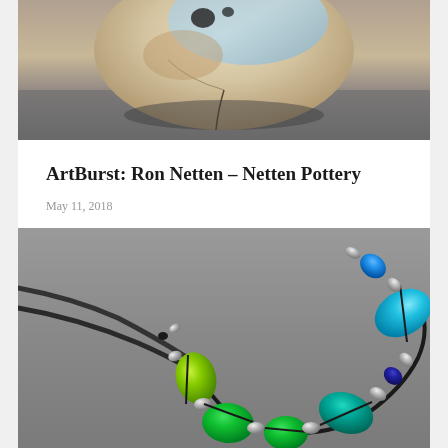[Figure (photo): Close-up photograph of a ceramic pottery piece with blue, cream, and brown glazing, viewed from above on a gray background.]
ArtBurst: Ron Netten – Netten Pottery
May 11, 2018
[Figure (photo): Photograph of a colorful glass bead necklace on a gray background. The necklace features vibrant green, teal, blue, and cobalt glass beads with silver spacer beads, strung on a dark leather cord.]